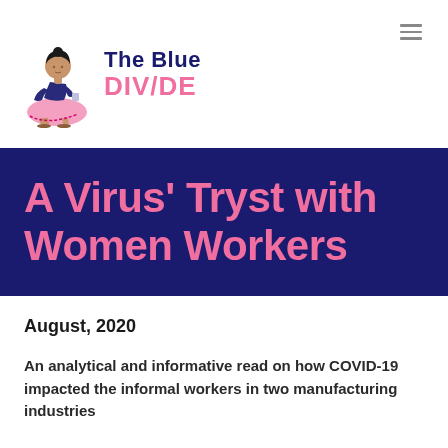[Figure (logo): The Blue Divide logo — illustration of a woman in a pink sari seated on the left, with text 'The Blue DIVIDE' to the right in navy and pink]
A Virus' Tryst with Women Workers
August, 2020
An analytical and informative read on how COVID-19 impacted the informal workers in two manufacturing industries